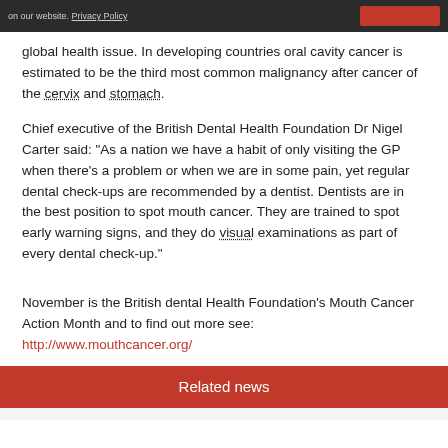on our website. Privacy Policy
global health issue. In developing countries oral cavity cancer is estimated to be the third most common malignancy after cancer of the cervix and stomach.
Chief executive of the British Dental Health Foundation Dr Nigel Carter said: "As a nation we have a habit of only visiting the GP when there's a problem or when we are in some pain, yet regular dental check-ups are recommended by a dentist. Dentists are in the best position to spot mouth cancer. They are trained to spot early warning signs, and they do visual examinations as part of every dental check-up."
November is the British dental Health Foundation's Mouth Cancer Action Month and to find out more see: http://www.mouthcancer.org/
Related news